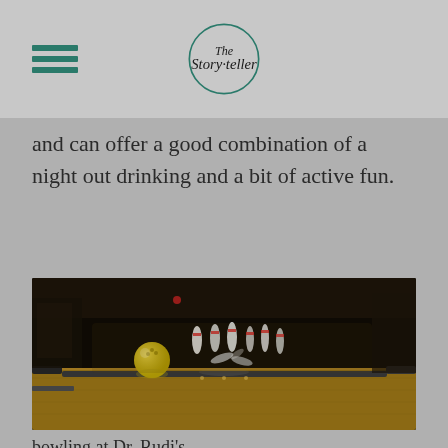The Storyteller
and can offer a good combination of a night out drinking and a bit of active fun.
[Figure (photo): A bowling alley lane with bowling pins being scattered by a yellow ball, taken from a low angle showing the wooden lane surface and dark background.]
bowling at Dr. Rudi's